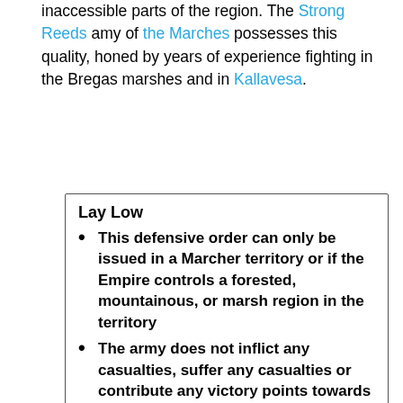inaccessible parts of the region. The Strong Reeds amy of the Marches possesses this quality, honed by years of experience fighting in the Bregas marshes and in Kallavesa.
Lay Low
This defensive order can only be issued in a Marcher territory or if the Empire controls a forested, mountainous, or marsh region in the territory
The army does not inflict any casualties, suffer any casualties or contribute any victory points towards the defense of the territory
The presence of an army that is laying low in a territory removes the advantage for attacking an undefended territory
A general who orders their army to lay low